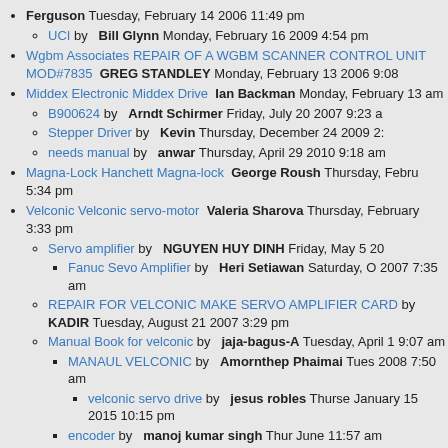Ferguson Tuesday, February 14 2006 11:49 pm
UCI by Bill Glynn Monday, February 16 2009 4:54 pm
Wgbm Associates REPAIR OF A WGBM SCANNER CONTROL UNIT MOD#7835 GREG STANDLEY Monday, February 13 2006 9:08
Middex Electronic Middex Drive Ian Backman Monday, February 13 am
B900624 by Arndt Schirmer Friday, July 20 2007 9:23 a
Stepper Driver by Kevin Thursday, December 24 2009 2:
needs manual by anwar Thursday, April 29 2010 9:18 am
Magna-Lock Hanchett Magna-lock George Roush Thursday, Febru 5:34 pm
Velconic Velconic servo-motor Valeria Sharova Thursday, February 3:33 pm
Servo amplifier by NGUYEN HUY DINH Friday, May 5 20
Fanuc Sevo Amplifier by Heri Setiawan Saturday, 2007 7:35 am
REPAIR FOR VELCONIC MAKE SERVO AMPLIFIER CARD by KADIR Tuesday, August 21 2007 3:29 pm
Manual Book for velconic by jaja-bagus-A Tuesday, April 1 9:07 am
MANAUL VELCONIC by Amornthep Phaimai Tues 2008 7:50 am
velconic servo drive by jesus robles Thursday January 15 2015 10:15 pm
encoder by manoj kumar singh Thursday June 11:57 am
manual book and supplier by Nanda W August 12 2009 3:19 am
RFQ Magnet Ring Requirement by zeshan Thursday, Janua 4:21 pm